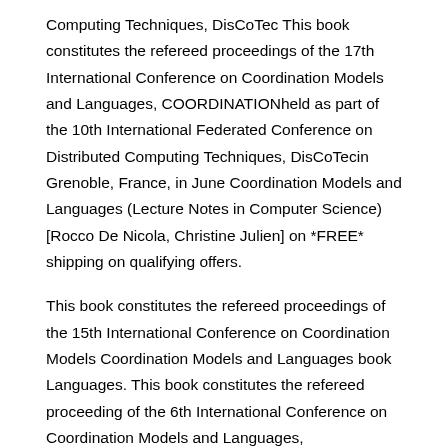Computing Techniques, DisCoTec This book constitutes the refereed proceedings of the 17th International Conference on Coordination Models and Languages, COORDINATIONheld as part of the 10th International Federated Conference on Distributed Computing Techniques, DisCoTecin Grenoble, France, in June Coordination Models and Languages (Lecture Notes in Computer Science) [Rocco De Nicola, Christine Julien] on *FREE* shipping on qualifying offers.
This book constitutes the refereed proceedings of the 15th International Conference on Coordination Models Coordination Models and Languages book Languages. This book constitutes the refereed proceeding of the 6th International Conference on Coordination Models and Languages, COORDINATIONheld in Pisa, Italy in February The 20 revised full papers presented together with the abstracts of 3 invited talks were carefully reviewed and selected.
The COORDINATION proceedings volume presented papers focusing on architectures, models and languages for the specification and verification of coordination mechanisms of modern information systems. Separation between coordination and computation is key to